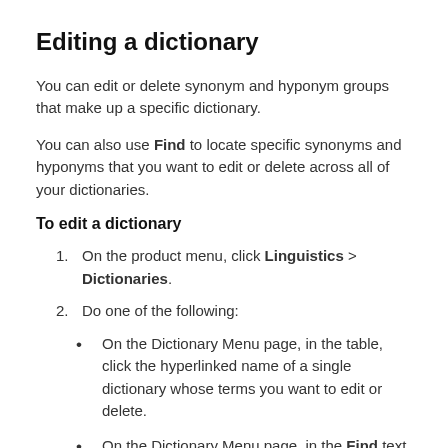Editing a dictionary
You can edit or delete synonym and hyponym groups that make up a specific dictionary.
You can also use Find to locate specific synonyms and hyponyms that you want to edit or delete across all of your dictionaries.
To edit a dictionary
1. On the product menu, click Linguistics > Dictionaries.
2. Do one of the following:
On the Dictionary Menu page, in the table, click the hyperlinked name of a single dictionary whose terms you want to edit or delete.
On the Dictionary Menu page, in the Find text field, type a term that you want to locate across all